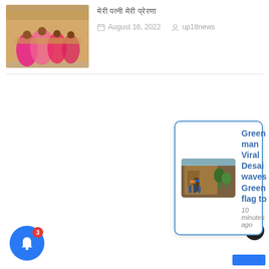[Figure (photo): Thumbnail image of women in colorful traditional clothing at a market or event]
मेरी पत्नी मेरी प्रेरणा
August 16, 2022   up18news
[Figure (photo): Notification popup showing image of people with flags near a building, with headline: Green man Viral Desai waves Green flag to, 10 minutes ago]
Green man Viral Desai waves Green flag to
10 minutes ago